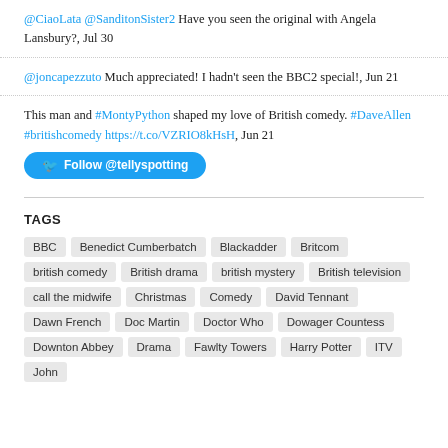@CiaoLata @SanditonSister2 Have you seen the original with Angela Lansbury?, Jul 30
@joncapezzuto Much appreciated! I hadn't seen the BBC2 special!, Jun 21
This man and #MontyPython shaped my love of British comedy. #DaveAllen #britishcomedy https://t.co/VZRIO8kHsH, Jun 21
Follow @tellyspotting
TAGS
BBC
Benedict Cumberbatch
Blackadder
Britcom
british comedy
British drama
british mystery
British television
call the midwife
Christmas
Comedy
David Tennant
Dawn French
Doc Martin
Doctor Who
Dowager Countess
Downton Abbey
Drama
Fawlty Towers
Harry Potter
ITV
John